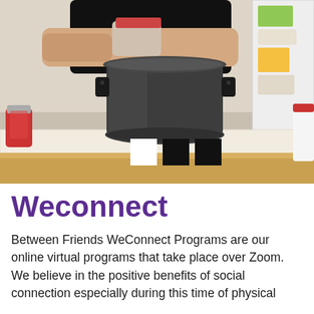[Figure (photo): A person cooking at a kitchen counter with a large dark pot. Three navigation indicator squares (white, black, black) are overlaid at the bottom of the image. Decorative items including pinecones and a red candle are visible on the counter.]
Weconnect
Between Friends WeConnect Programs are our online virtual programs that take place over Zoom. We believe in the positive benefits of social connection especially during this time of physical